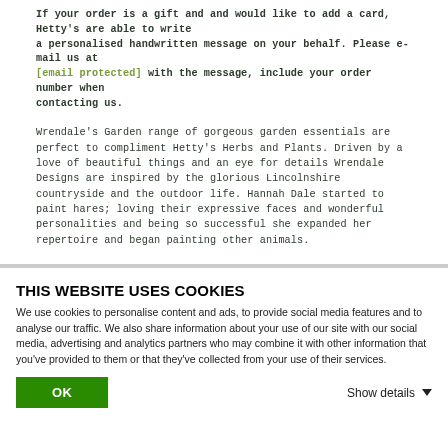If your order is a gift and and would like to add a card, Hetty's are able to write a personalised handwritten message on your behalf. Please e-mail us at [email protected] with the message, include your order number when contacting us.
Wrendale's Garden range of gorgeous garden essentials are perfect to compliment Hetty's Herbs and Plants. Driven by a love of beautiful things and an eye for details Wrendale Designs are inspired by the glorious Lincolnshire countryside and the outdoor life. Hannah Dale started to paint hares; loving their expressive faces and wonderful personalities and being so successful she expanded her repertoire and began painting other animals.
THIS WEBSITE USES COOKIES
We use cookies to personalise content and ads, to provide social media features and to analyse our traffic. We also share information about your use of our site with our social media, advertising and analytics partners who may combine it with other information that you've provided to them or that they've collected from your use of their services.
OK
Show details